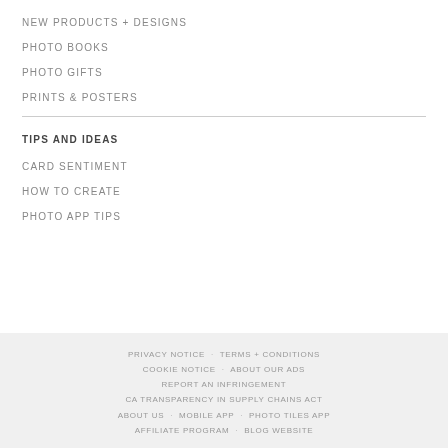NEW PRODUCTS + DESIGNS
PHOTO BOOKS
PHOTO GIFTS
PRINTS & POSTERS
TIPS AND IDEAS
CARD SENTIMENT
HOW TO CREATE
PHOTO APP TIPS
PRIVACY NOTICE · TERMS + CONDITIONS · COOKIE NOTICE · ABOUT OUR ADS · REPORT AN INFRINGEMENT · CA TRANSPARENCY IN SUPPLY CHAINS ACT · ABOUT US · MOBILE APP · PHOTO TILES APP · AFFILIATE PROGRAM · BLOG WEBSITE